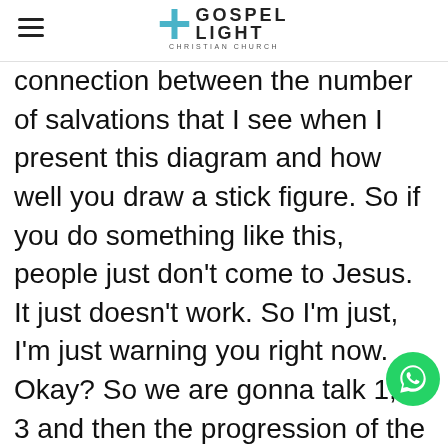Gospel Light Christian Church
connection between the number of salvations that I see when I present this diagram and how well you draw a stick figure. So if you do something like this, people just don't come to Jesus. It just doesn't work. So I'm just, I'm just warning you right now. Okay? So we are gonna talk 1, 2, 3 and then the progression of the box is going to go up here to box number 4. Alright? It's not to be here, It's gonna be up here, number 4. I am then going to put another little stick figure right here and then I'm going to put in box number 5. So